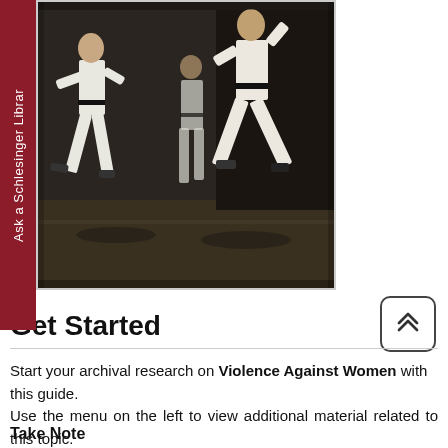[Figure (photo): Black and white photograph of people practicing karate or martial arts in white uniforms (gi) on a stage or gym floor. Multiple practitioners are in fighting stances.]
Get Started
Start your archival research on Violence Against Women with this guide.
Use the menu on the left to view additional material related to this topic.
Take Note